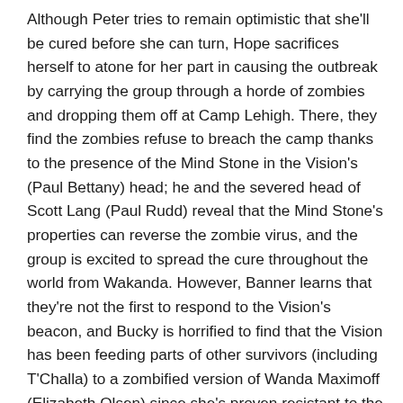Although Peter tries to remain optimistic that she'll be cured before she can turn, Hope sacrifices herself to atone for her part in causing the outbreak by carrying the group through a horde of zombies and dropping them off at Camp Lehigh. There, they find the zombies refuse to breach the camp thanks to the presence of the Mind Stone in the Vision's (Paul Bettany) head; he and the severed head of Scott Lang (Paul Rudd) reveal that the Mind Stone's properties can reverse the zombie virus, and the group is excited to spread the cure throughout the world from Wakanda. However, Banner learns that they're not the first to respond to the Vision's beacon, and Bucky is horrified to find that the Vision has been feeding parts of other survivors (including T'Challa) to a zombified version of Wanda Maximoff (Elizabeth Olsen) since she's proven resistant to the Mind Stone and he's been unable to kill her due to his love for her. When Wanda breaks free and proves uncontrollable due to her powers and hunger, the Vision rips the Mind Stone out of his